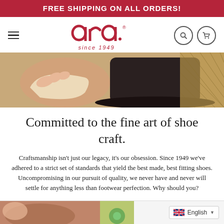FREE SHIPPING ON ALL ORDERS!
[Figure (logo): ara logo with cursive text and 'since 1949' tagline, with hamburger menu, search and cart icons]
[Figure (photo): Close-up photo of shoe crafting — a hand working with a shoe insole and a dark leather shoe on a mesh/lattice surface]
Committed to the fine art of shoe craft.
Craftsmanship isn't just our legacy, it's our obsession. Since 1949 we've adhered to a strict set of standards that yield the best made, best fitting shoes. Uncompromising in our pursuit of quality, we never have and never will settle for anything less than footwear perfection. Why should you?
[Figure (screenshot): Bottom strip showing partial product images and English language selector with UK flag]